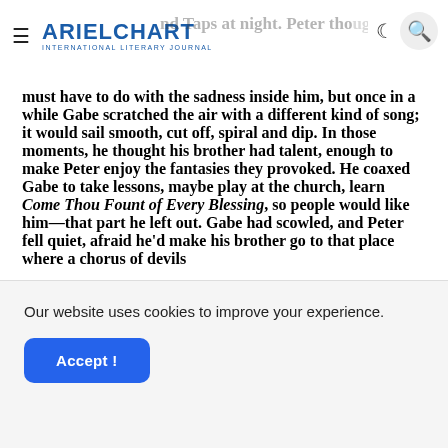ARIELCHART INTERNATIONAL LITERARY JOURNAL
must have to do with the sadness inside him, but once in a while Gabe scratched the air with a different kind of song; it would sail smooth, cut off, spiral and dip. In those moments, he thought his brother had talent, enough to make Peter enjoy the fantasies they provoked. He coaxed Gabe to take lessons, maybe play at the church, learn Come Thou Fount of Every Blessing, so people would like him—that part he left out. Gabe had scowled, and Peter fell quiet, afraid he'd make his brother go to that place where a chorus of devils
Our website uses cookies to improve your experience.